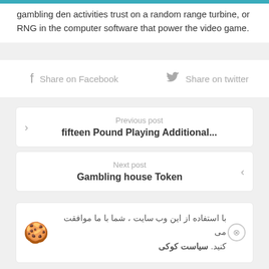gambling den activities trust on a random range turbine, or RNG in the computer software that power the video game.
Share on Facebook   Share on twitter
Previous post
fifteen Pound Playing Additional...
Next post
Gambling house Token
با استفاده از این وب سایت ، شما با ما موافقت می کنید. سیاست کوکی